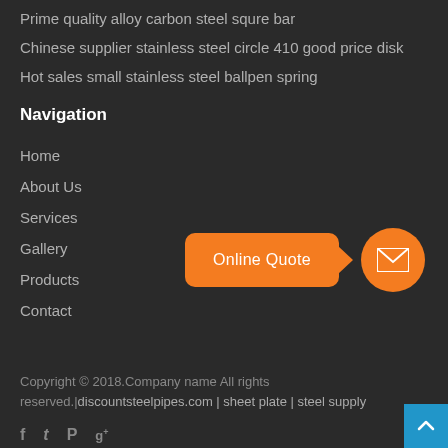Prime quality alloy carbon steel squre bar
Chinese supplier stainless steel circle 410 good price disk
Hot sales small stainless steel ballpen spring
Navigation
Home
About Us
Services
Gallery
Products
Contact
[Figure (infographic): Orange rounded rectangle button labeled 'Online Quote' with arrow pointing to an orange circle containing a white envelope/mail icon]
Copyright © 2018.Company name All rights reserved.|discountsteelpipes.com | sheet plate | steel supply
[Figure (other): Social media icons: Facebook, Twitter, Pinterest, Google+]